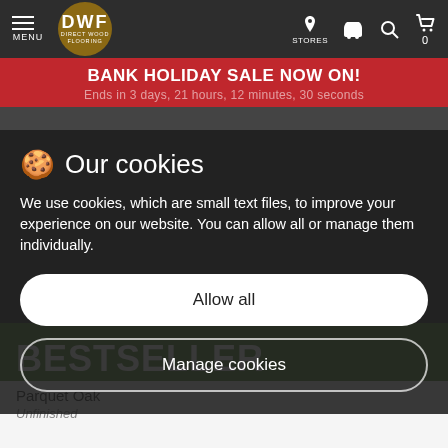MENU | DWF DIRECT WOOD FLOORING | STORES | (icons: phone, search, cart 0)
BANK HOLIDAY SALE NOW ON!
Ends in 3 days, 21 hours, 12 minutes, 30 seconds
Our cookies
We use cookies, which are small text files, to improve your experience on our website. You can allow all or manage them individually.
Allow all
Manage cookies
BESTSELLER
Parquet Oak
Unfinished